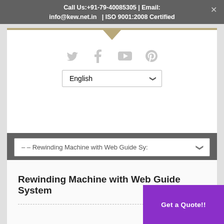Call Us:+91-79-40085305 | Email: info@kew.net.in | ISO 9001:2008 Certified
[Figure (screenshot): Social media icons: Twitter, Facebook, YouTube, Pinterest in light gray]
English (language selector dropdown)
– – Rewinding Machine with Web Guide Sy: (navigation dropdown)
Rewinding Machine with Web Guide System
Get a Quote!!